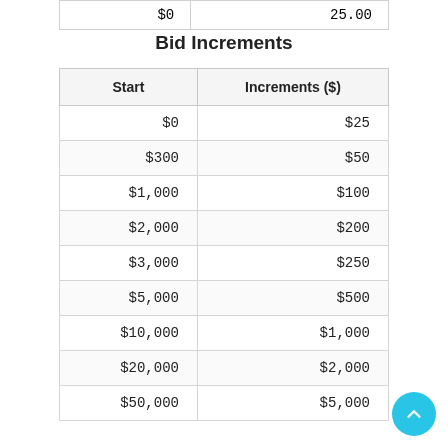| $0 | 25.00 |
Bid Increments
| Start | Increments ($) |
| --- | --- |
| $0 | $25 |
| $300 | $50 |
| $1,000 | $100 |
| $2,000 | $200 |
| $3,000 | $250 |
| $5,000 | $500 |
| $10,000 | $1,000 |
| $20,000 | $2,000 |
| $50,000 | $5,000 |